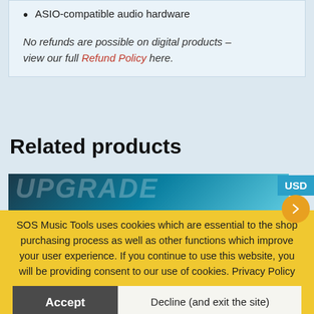ASIO-compatible audio hardware
No refunds are possible on digital products – view our full Refund Policy here.
Related products
[Figure (screenshot): Product image strip with dark teal gradient background and partially visible white text]
SOS Music Tools uses cookies which are essential to the shop purchasing process as well as other functions which improve your user experience. If you continue to use this website, you will be providing consent to our use of cookies. Privacy Policy
Accept
Decline (and exit the site)